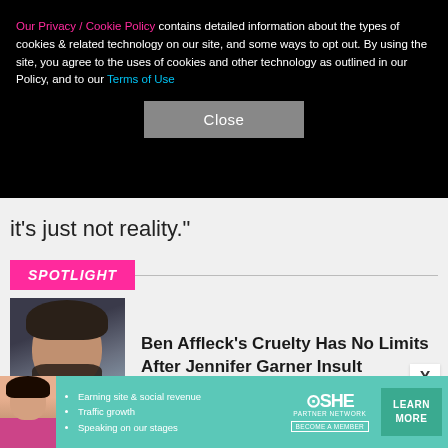Our Privacy / Cookie Policy contains detailed information about the types of cookies & related technology on our site, and some ways to opt out. By using the site, you agree to the uses of cookies and other technology as outlined in our Policy, and to our Terms of Use
Close
it's just not reality."
SPOTLIGHT
[Figure (photo): Headshot of Ben Affleck, a man with dark beard wearing a blue shirt, against a dark background]
Ben Affleck's Cruelty Has No Limits After Jennifer Garner Insult
[Figure (infographic): SHE Partner Network advertisement banner with a woman avatar, bullet points: Earning site & social revenue, Traffic growth, Speaking on our stages, logo, and LEARN MORE button]